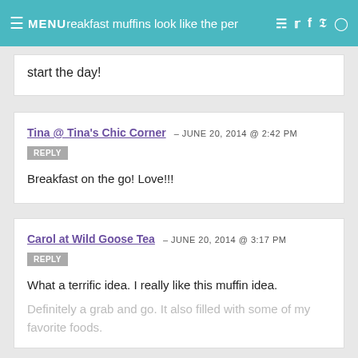MENU – breakfast muffins look like the perf… [navigation bar with icons]
start the day!
Tina @ Tina's Chic Corner – JUNE 20, 2014 @ 2:42 PM
REPLY
Breakfast on the go! Love!!!
Carol at Wild Goose Tea – JUNE 20, 2014 @ 3:17 PM
REPLY
What a terrific idea. I really like this muffin idea.
Definitely a grab and go. It also filled with some of my favorite foods.